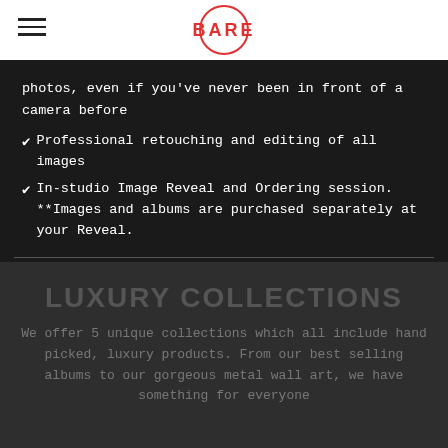BARE
photos, even if you've never been in front of a camera before
Professional retouching and editing of all images
In-studio Image Reveal and Ordering session. **Images and albums are purchased separately at your Reveal.
LUXURY COLLECTIONS
We offer 5 unique collections which all include hand picked, luxury products. From our best selling albums to our gorgeous metal wall art, we have something for everyone